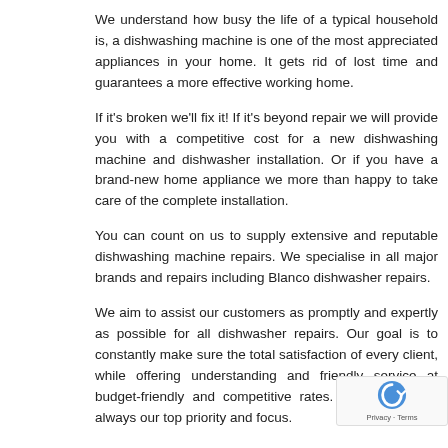We understand how busy the life of a typical household is, a dishwashing machine is one of the most appreciated appliances in your home. It gets rid of lost time and guarantees a more effective working home.
If it's broken we'll fix it! If it's beyond repair we will provide you with a competitive cost for a new dishwashing machine and dishwasher installation. Or if you have a brand-new home appliance we more than happy to take care of the complete installation.
You can count on us to supply extensive and reputable dishwashing machine repairs. We specialise in all major brands and repairs including Blanco dishwasher repairs.
We aim to assist our customers as promptly and expertly as possible for all dishwasher repairs. Our goal is to constantly make sure the total satisfaction of every client, while offering understanding and friendly service at budget-friendly and competitive rates. Our clients are always our top priority and focus.
So, if you have actually noticed that either:
Your dishwasher just doesn't tidy like it utilized to
The next row below — partially visible